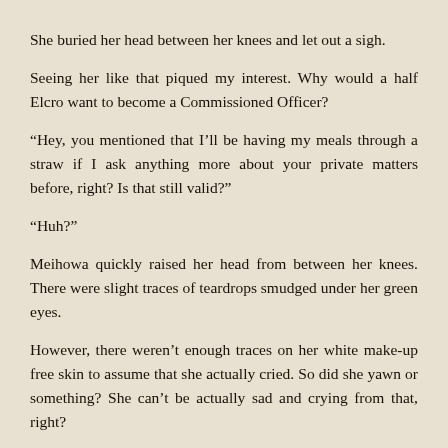She buried her head between her knees and let out a sigh.
Seeing her like that piqued my interest. Why would a half Elcro want to become a Commissioned Officer?
“Hey, you mentioned that I’ll be having my meals through a straw if I ask anything more about your private matters before, right? Is that still valid?”
“Huh?”
Meihowa quickly raised her head from between her knees. There were slight traces of teardrops smudged under her green eyes.
However, there weren’t enough traces on her white make-up free skin to assume that she actually cried. So did she yawn or something? She can’t be actually sad and crying from that, right?
“Y-You know. While it’s true that I’m just asking because of my curiosity… but I think it would be nice if you can share it with someone. If you start talking, then maybe you’ll have some stress